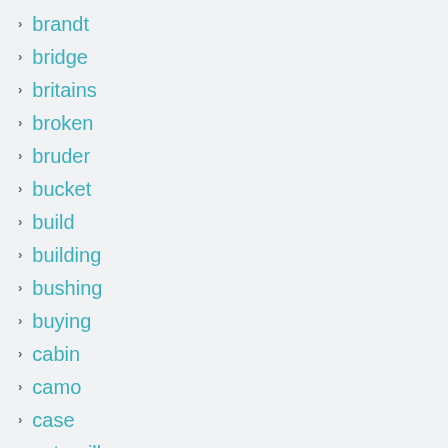brandt
bridge
britains
broken
bruder
bucket
build
building
bushing
buying
cabin
camo
case
caterpillar
central
cfkit
change
changing
cleaning